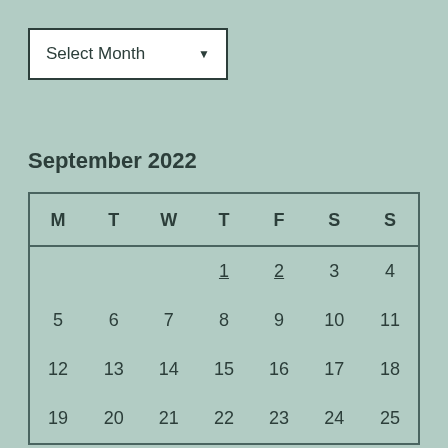[Figure (other): Dropdown selector showing 'Select Month' with a downward arrow indicator]
September 2022
| M | T | W | T | F | S | S |
| --- | --- | --- | --- | --- | --- | --- |
|  |  |  | 1 | 2 | 3 | 4 |
| 5 | 6 | 7 | 8 | 9 | 10 | 11 |
| 12 | 13 | 14 | 15 | 16 | 17 | 18 |
| 19 | 20 | 21 | 22 | 23 | 24 | 25 |